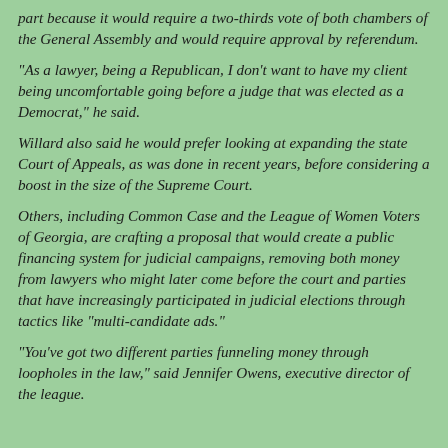part because it would require a two-thirds vote of both chambers of the General Assembly and would require approval by referendum.
"As a lawyer, being a Republican, I don't want to have my client being uncomfortable going before a judge that was elected as a Democrat," he said.
Willard also said he would prefer looking at expanding the state Court of Appeals, as was done in recent years, before considering a boost in the size of the Supreme Court.
Others, including Common Case and the League of Women Voters of Georgia, are crafting a proposal that would create a public financing system for judicial campaigns, removing both money from lawyers who might later come before the court and parties that have increasingly participated in judicial elections through tactics like "multi-candidate ads."
"You've got two different parties funneling money through loopholes in the law," said Jennifer Owens, executive director of the league.